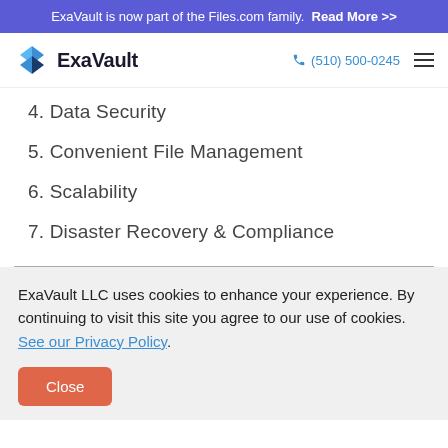ExaVault is now part of the Files.com family. Read More >>
ExaVault (510) 500-0245
4. Data Security
5. Convenient File Management
6. Scalability
7. Disaster Recovery & Compliance
ExaVault LLC uses cookies to enhance your experience. By continuing to visit this site you agree to our use of cookies. See our Privacy Policy.